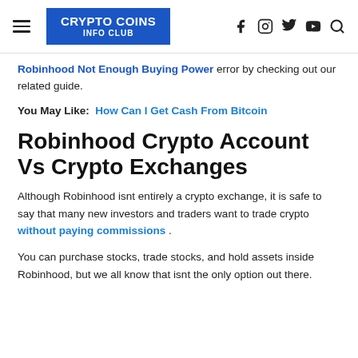CRYPTO COINS INFO CLUB
Robinhood Not Enough Buying Power error by checking out our related guide.
You May Like: How Can I Get Cash From Bitcoin
Robinhood Crypto Account Vs Crypto Exchanges
Although Robinhood isnt entirely a crypto exchange, it is safe to say that many new investors and traders want to trade crypto without paying commissions .
You can purchase stocks, trade stocks, and hold assets inside Robinhood, but we all know that isnt the only option out there.